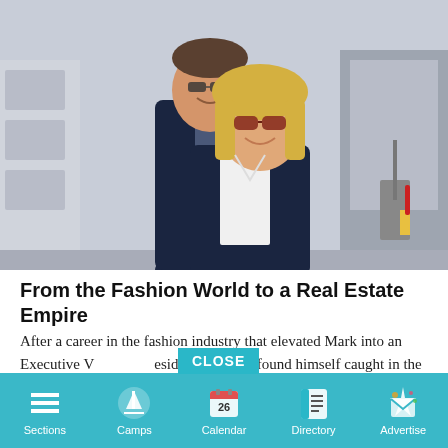[Figure (photo): Two smiling people in business attire standing outside near a train. A man with glasses in a dark suit and a blonde woman wearing sunglasses and a white shirt with a dark blazer.]
From the Fashion World to a Real Estate Empire
After a career in the fashion industry that elevated Mark into an Executive Vice President role – he found himself caught in the everchanging world of fashion. For a short period, he was unemployed and on food
Sections | Camps | Calendar | Directory | Advertise